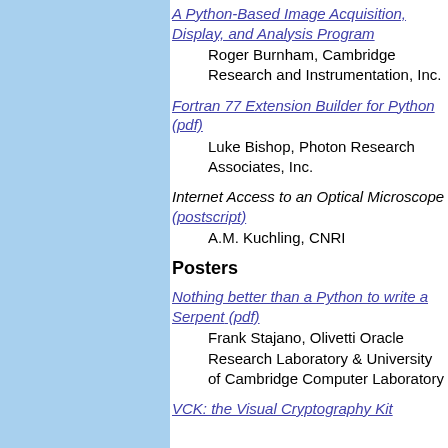A Python-Based Image Acquisition, Display, and Analysis Program
        Roger Burnham, Cambridge Research and Instrumentation, Inc.
Fortran 77 Extension Builder for Python (pdf)
        Luke Bishop, Photon Research Associates, Inc.
Internet Access to an Optical Microscope (postscript)
        A.M. Kuchling, CNRI
Posters
Nothing better than a Python to write a Serpent (pdf)
        Frank Stajano, Olivetti Oracle Research Laboratory & University of Cambridge Computer Laboratory
VCK: the Visual Cryptography Kit